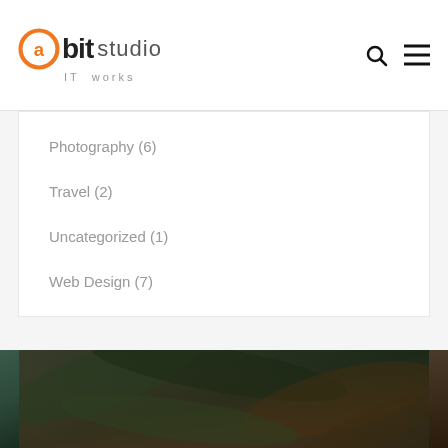[Figure (logo): @bit studio IT works logo with orange circular @ symbol]
Photography (6)
Travel (2)
Uncategorized (1)
Web Design (7)
[Figure (photo): Dark close-up photograph, partially visible at bottom of page]